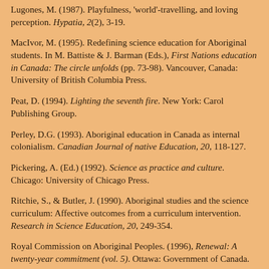Lugones, M. (1987). Playfulness, 'world'-travelling, and loving perception. Hypatia, 2(2), 3-19.
MacIvor, M. (1995). Redefining science education for Aboriginal students. In M. Battiste & J. Barman (Eds.), First Nations education in Canada: The circle unfolds (pp. 73-98). Vancouver, Canada: University of British Columbia Press.
Peat, D. (1994). Lighting the seventh fire. New York: Carol Publishing Group.
Perley, D.G. (1993). Aboriginal education in Canada as internal colonialism. Canadian Journal of native Education, 20, 118-127.
Pickering, A. (Ed.) (1992). Science as practice and culture. Chicago: University of Chicago Press.
Ritchie, S., & Butler, J. (1990). Aboriginal studies and the science curriculum: Affective outcomes from a curriculum intervention. Research in Science Education, 20, 249-354.
Royal Commission on Aboriginal Peoples. (1996), Renewal: A twenty-year commitment (vol. 5). Ottawa: Government of Canada.
Snively, G. (1995). Bridging traditional science and western science in the multicultural classroom. In G. Snively & A.